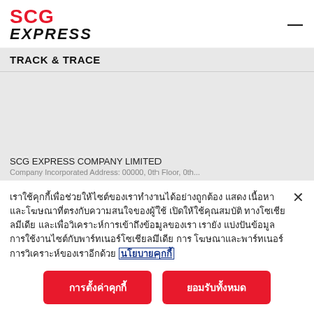SCG EXPRESS
TRACK & TRACE
SCG EXPRESS COMPANY LIMITED
เราใช้คุกกี้เพื่อช่วยให้ไซต์ของเราทำงานได้อย่างถูกต้อง แสดงเนื้อหาและโฆษณาที่ตรงกับความสนใจของผู้ใช้ เปิดให้ใช้คุณสมบัติทางโซเชียลมีเดีย และเพื่อวิเคราะห์การเข้าถึงข้อมูลของเรา เรายังแบ่งปันข้อมูลการใช้งานไซต์กับพาร์ทเนอร์โซเชียลมีเดีย การโฆษณาและพาร์ทเนอร์การวิเคราะห์ของเราอีกด้วย นโยบายคุกกี้
การตั้งค่าคุกกี้
ยอมรับทั้งหมด